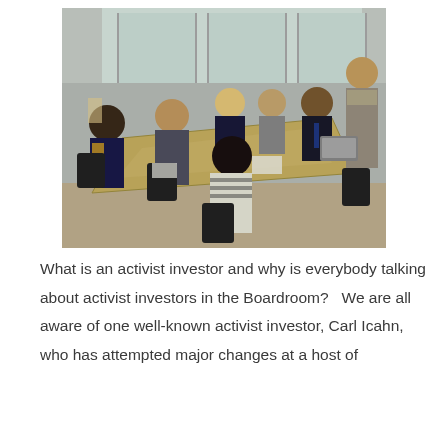[Figure (photo): A business meeting in a modern boardroom. Several people of diverse backgrounds sit around a large rectangular table. A man in a gray suit stands at the head of the table, appearing to present or speak. Others are seated attentively, including a woman in a striped top in the foreground. Large windows with natural light are visible in the background.]
What is an activist investor and why is everybody talking about activist investors in the Boardroom?  We are all aware of one well-known activist investor, Carl Icahn, who has attempted major changes at a host of